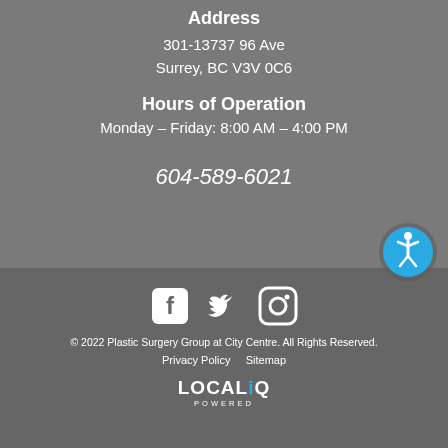Address
301-13737 96 Ave
Surrey, BC V3V 0C6
Hours of Operation
Monday – Friday: 8:00 AM – 4:00 PM
604-589-6021
[Figure (illustration): Accessibility icon — blue circle with white wheelchair/person symbol]
[Figure (logo): Social media icons: Facebook, Twitter, Instagram (white on dark background)]
© 2022 Plastic Surgery Group at City Centre. All Rights Reserved.
Privacy Policy    Sitemap
[Figure (logo): LOCALiQ POWERED logo in white with blue Q]